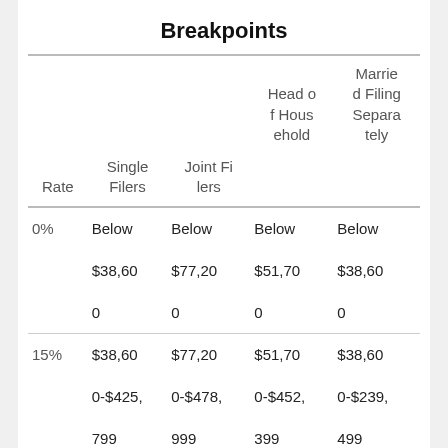Breakpoints
| Rate | Single Filers | Joint Filers | Head of Household | Married Filing Separately |
| --- | --- | --- | --- | --- |
| 0% | Below $38,600 | Below $77,200 | Below $51,700 | Below $38,600 |
| 15% | $38,600-$425,799 | $77,200-$478,999 | $51,700-$452,399 | $38,600-$239,499 |